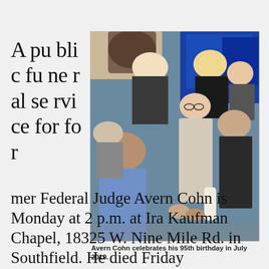A public funeral service for former Federal Judge Avern Cohn is Monday at 2 p.m. at Ira Kaufman Chapel, 18325 W. Nine Mile Rd. in Southfield. He died Friday
[Figure (photo): Avern Cohn surrounded by people shaking hands, celebrating his 95th birthday in July 2019, in what appears to be a courtroom or conference room setting.]
Avern Cohn celebrates his 95th birthday in July 2019.